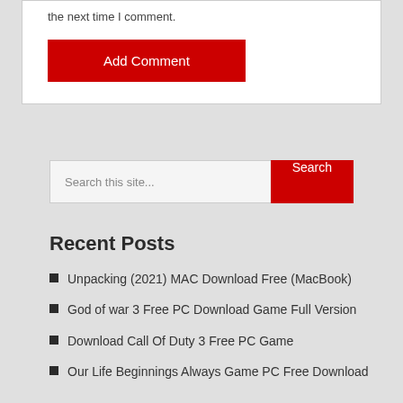the next time I comment.
Add Comment
Search this site...
Recent Posts
Unpacking (2021) MAC Download Free (MacBook)
God of war 3 Free PC Download Game Full Version
Download Call Of Duty 3 Free PC Game
Our Life Beginnings Always Game PC Free Download